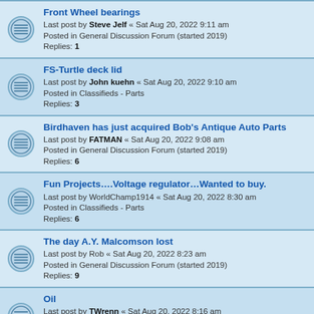Front Wheel bearings
Last post by Steve Jelf « Sat Aug 20, 2022 9:11 am
Posted in General Discussion Forum (started 2019)
Replies: 1
FS-Turtle deck lid
Last post by John kuehn « Sat Aug 20, 2022 9:10 am
Posted in Classifieds - Parts
Replies: 3
Birdhaven has just acquired Bob's Antique Auto Parts
Last post by FATMAN « Sat Aug 20, 2022 9:08 am
Posted in General Discussion Forum (started 2019)
Replies: 6
Fun Projects....Voltage regulator...Wanted to buy.
Last post by WorldChamp1914 « Sat Aug 20, 2022 8:30 am
Posted in Classifieds - Parts
Replies: 6
The day A.Y. Malcomson lost
Last post by Rob « Sat Aug 20, 2022 8:23 am
Posted in General Discussion Forum (started 2019)
Replies: 9
Oil
Last post by TWrenn « Sat Aug 20, 2022 8:16 am
Posted in General Discussion Forum (started 2019)
Replies: 21
FS WIRE WHEEL HUB PULLER
Last post by Kuhner « Sat Aug 20, 2022 8:03 am
Posted in Classifieds - Parts
Replies: 2
New London to New Brighton run